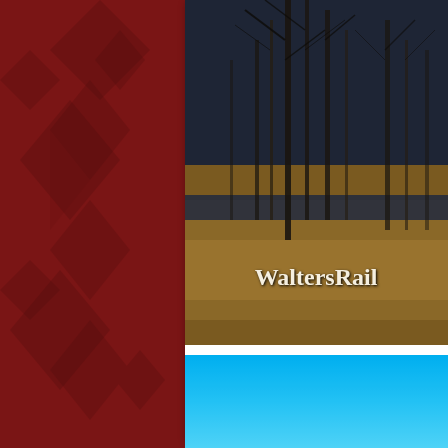[Figure (photo): Dark red background with geometric star/diamond pattern, partially visible on the left side of the page]
[Figure (photo): Photograph of bare winter trees with brown grass/reeds in the foreground, dark moody tones]
WaltersRail
1 -- No
[Figure (photo): Bottom image showing a bright blue sky gradient, partially cropped]